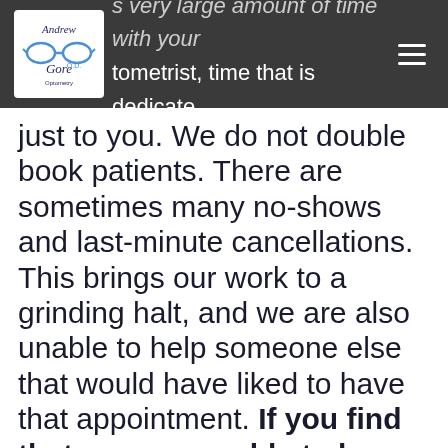Andrew Gore O.D. Optometrist, time that is dedicated
just to you. We do not double book patients. There are sometimes many no-shows and last-minute cancellations. This brings our work to a grinding halt, and we are also unable to help someone else that would have liked to have that appointment. If you find that you are unable to keep your appointment, we would be so grateful if you could let us know at least 24 hours in advance.